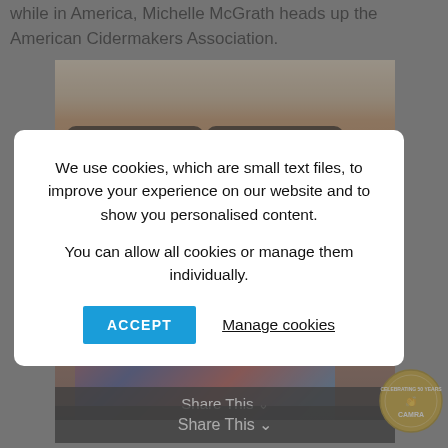while in America, Michelle McGrath heads up the American Cidermakers Association.
[Figure (photo): Close-up photograph of a person wearing dark-rimmed glasses with blonde/grey hair, partially obscured by cookie consent modal]
We use cookies, which are small text files, to improve your experience on our website and to show you personalised content.

You can allow all cookies or manage them individually.
ACCEPT
Manage cookies
Share This
[Figure (logo): CAMRA Celebrating 50 Years circular gold badge logo]